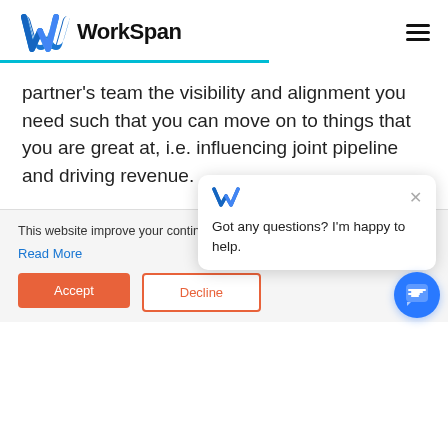[Figure (logo): WorkSpan logo with blue W icon and bold black WorkSpan text]
partner's team the visibility and alignment you need such that you can move on to things that you are great at, i.e. influencing joint pipeline and driving revenue.
This website improve your continuing to giving us you
Read More
Got any questions? I'm happy to help.
Accept
Decline